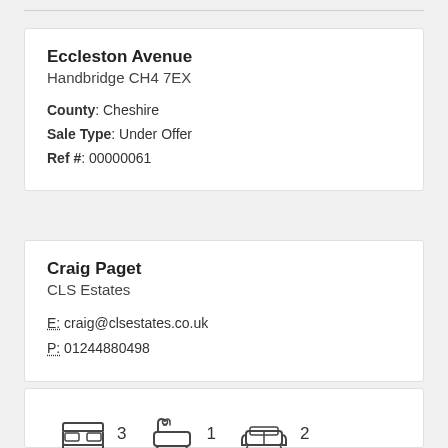Eccleston Avenue
Handbridge CH4 7EX

County: Cheshire
Sale Type: Under Offer
Ref #: 00000061
Craig Paget
CLS Estates

E: craig@clsestates.co.uk
P: 01244880498
[Figure (infographic): Icons showing 3 bedrooms, 1 bathroom, 2 reception rooms]